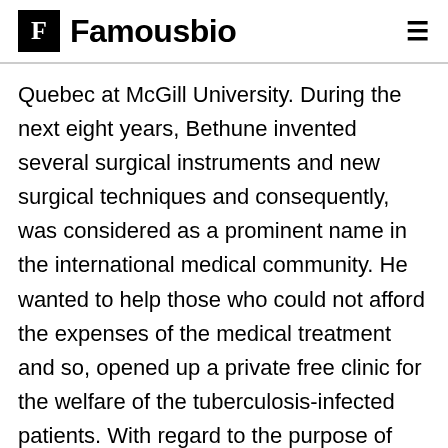Famousbio
Quebec at McGill University. During the next eight years, Bethune invented several surgical instruments and new surgical techniques and consequently, was considered as a prominent name in the international medical community. He wanted to help those who could not afford the expenses of the medical treatment and so, opened up a private free clinic for the welfare of the tuberculosis-infected patients. With regard to the purpose of following a socialized medicine operation in U.S.S.R, he attended the International Physiological Congress in Moscow